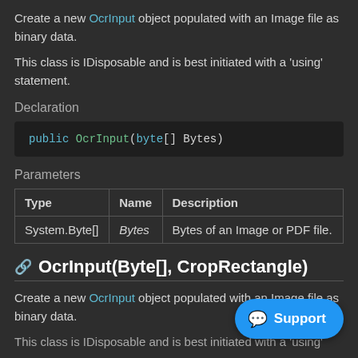Create a new OcrInput object populated with an Image file as binary data.
This class is IDisposable and is best initiated with a 'using' statement.
Declaration
[Figure (screenshot): Code block showing: public OcrInput(byte[] Bytes)]
Parameters
| Type | Name | Description |
| --- | --- | --- |
| System.Byte[] | Bytes | Bytes of an Image or PDF file. |
OcrInput(Byte[], CropRectangle)
Create a new OcrInput object populated with an Image file as binary data.
This class is IDisposable and is best initiated with a 'using'